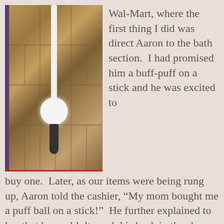[Figure (photo): A white loofah/bath puff on a long white stick/handle, hanging against a brown tiled bathroom wall. A dark plunger handle is visible at the bottom.]
Wal-Mart, where the first thing I did was direct Aaron to the bath section.  I had promised him a buff-puff on a stick and he was excited to buy one.  Later, as our items were being rung up, Aaron told the cashier, “My mom bought me a puff ball on a stick!”  He further explained to her that he couldn’t reach his back in the shower and that now he could.  As he loaded our bags in the cart there at